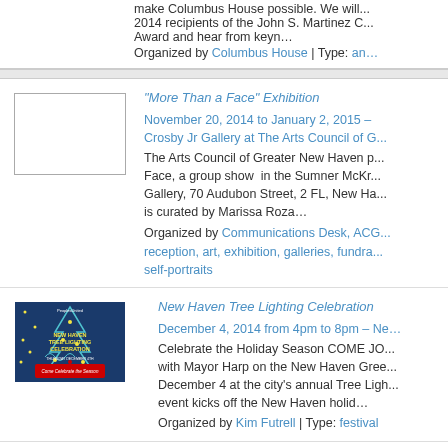make Columbus House possible. We will... 2014 recipients of the John S. Martinez C... Award and hear from keyn…
Organized by Columbus House | Type: an…
"More Than a Face" Exhibition
November 20, 2014 to January 2, 2015 – Crosby Jr Gallery at The Arts Council of G...
The Arts Council of Greater New Haven p... Face, a group show in the Sumner McKr... Gallery, 70 Audubon Street, 2 FL, New Ha... is curated by Marissa Roza…
Organized by Communications Desk, ACG... reception, art, exhibition, galleries, fundra... self-portraits
[Figure (photo): Blue promotional image for New Haven Tree Lighting Celebration event on Thursday December 4, 4-8pm on the Green]
New Haven Tree Lighting Celebration
December 4, 2014 from 4pm to 8pm – Ne... Celebrate the Holiday Season COME JO... with Mayor Harp on the New Haven Gree... December 4 at the city's annual Tree Ligh... event kicks off the New Haven holid…
Organized by Kim Futrell | Type: festival
Movie Night: Ice Age
December 4, 2014 from 4pm to 6pm – JO...